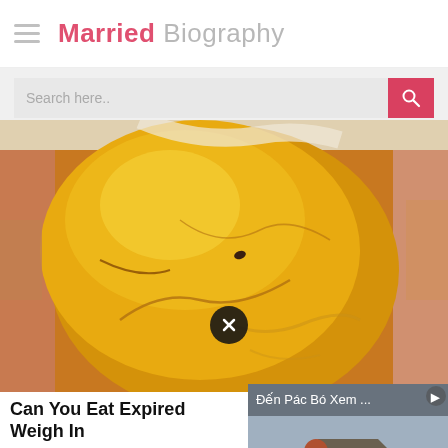Married Biography
Search here..
[Figure (photo): Close-up photo of a cracked egg yolk being held in fingers, showing a large golden/yellow yolk with cracks and a small dark spot]
Can You Eat Expired... Weigh In
HERBEAUTY
[Figure (screenshot): Video overlay thumbnail showing a monk or person in red robe looking at a traditional Asian temple building, with title text 'Đến Pác Bó Xem ...' and a play button]
Chioma Ub
Next Bio >>